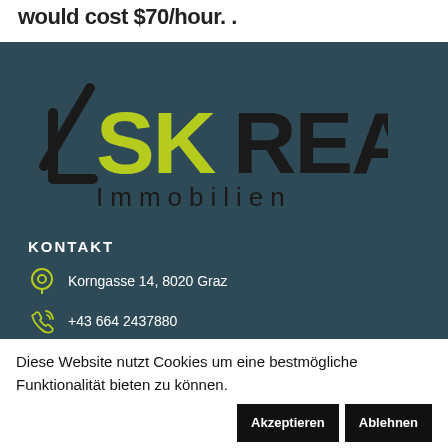would cost $70/hour. .
[Figure (logo): SK Real Immobilien logo on dark teal background, with a stylized house/arrow shape. 'SK' in lime green, 'REAL' in dark/black, 'Immobilien' below in dark color.]
KONTAKT
Korngasse 14, 8020 Graz
+43 664 2437880
Diese Website nutzt Cookies um eine bestmögliche Funktionalität bieten zu können.
Akzeptieren
Ablehnen
Mehr Lesen